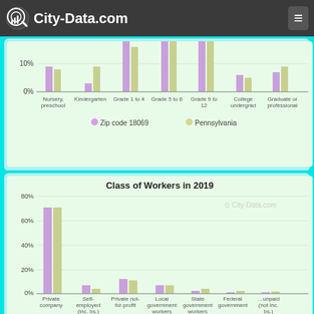City-Data.com
[Figure (grouped-bar-chart): School Enrollment (partial)]
[Figure (grouped-bar-chart): Class of Workers in 2019]